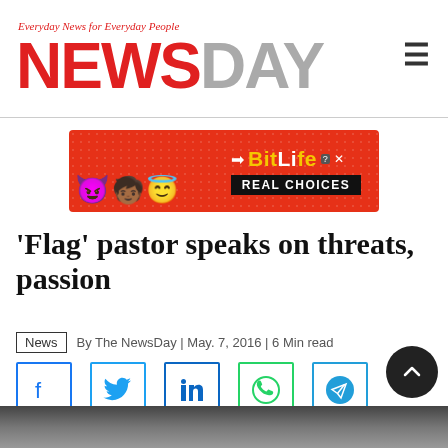Everyday News for Everyday People — NewsDay
[Figure (illustration): BitLife advertisement banner with cartoon devil, person, and angel emojis on red dotted background. Text reads 'BitLife REAL CHOICES']
'Flag' pastor speaks on threats, passion
News | By The NewsDay | May. 7, 2016 | 6 Min read
[Figure (illustration): Social media share icons: Facebook, Twitter, LinkedIn, WhatsApp, Telegram]
[Figure (photo): Partial photo at bottom of page, appears to be a person, mostly dark/grey tones]